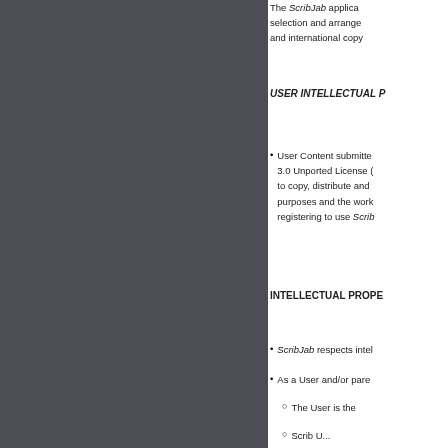The ScribJab application ... selection and arrangement ... and international copyright
USER INTELLECTUAL P...
User Content submitted ... 3.0 Unported License ... to copy, distribute and ... purposes and the work ... registering to use Scrib...
INTELLECTUAL PROPE...
ScribJab respects intel...
As a User and/or pare...
The User is the...